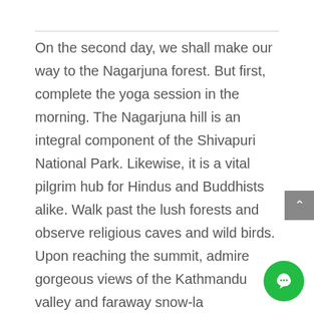On the second day, we shall make our way to the Nagarjuna forest. But first, complete the yoga session in the morning. The Nagarjuna hill is an integral component of the Shivapuri National Park. Likewise, it is a vital pilgrim hub for Hindus and Buddhists alike. Walk past the lush forests and observe religious caves and wild birds. Upon reaching the summit, admire gorgeous views of the Kathmandu valley and faraway snow-laden mountains.